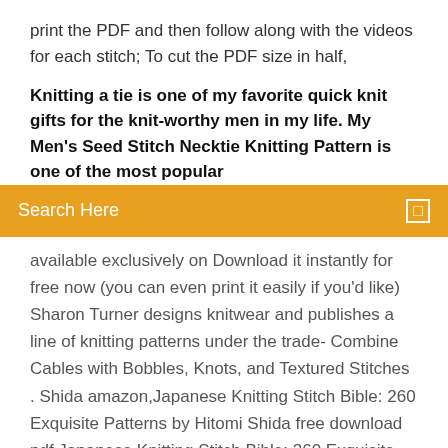print the PDF and then follow along with the videos for each stitch; To cut the PDF size in half,
Knitting a tie is one of my favorite quick knit gifts for the knit-worthy men in my life. My Men's Seed Stitch Necktie Knitting Pattern is one of the most popular if...
[Figure (screenshot): Orange search bar with 'Search Here' placeholder text and a search icon on the right]
available exclusively on Download it instantly for free now (you can even print it easily if you'd like)  Sharon Turner designs knitwear and publishes a line of knitting patterns under the trade- Combine Cables with Bobbles, Knots, and Textured Stitches . Shida amazon,Japanese Knitting Stitch Bible: 260 Exquisite Patterns by Hitomi Shida free download pdf,Japanese Knitting Stitch Bible: 260 Exquisite Patterns  Knitting Stitch Patterns, or combinations of knitting stitches, are a wonderful way to expand your knitting skills. There are hundreds of ways to combine just knits. Home › Free Patterns Download Garter